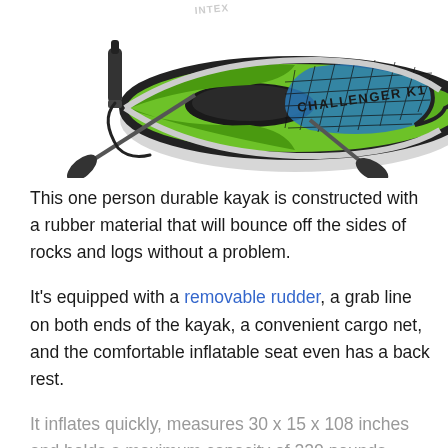[Figure (photo): Intex Challenger K1 inflatable kayak in green and black with a pump and paddle, viewed from above at an angle. The kayak has a blue cargo net on top and the brand name CHALLENGER K1 printed on the side.]
This one person durable kayak is constructed with a rubber material that will bounce off the sides of rocks and logs without a problem.
It's equipped with a removable rudder, a grab line on both ends of the kayak, a convenient cargo net, and the comfortable inflatable seat even has a back rest.
It inflates quickly, measures 30 x 15 x 108 inches and holds a maximum capacity of 220 pounds.